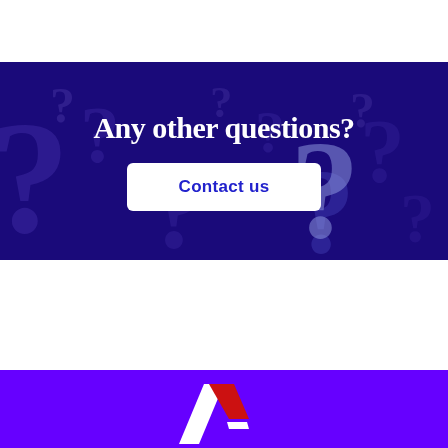[Figure (infographic): Dark purple banner with question marks as background decoration, containing the text 'Any other questions?' and a white 'Contact us' button with blue text]
Any other questions?
Contact us
[Figure (logo): Partial logo on purple footer showing a stylized letter K or chevron shape in white and red]